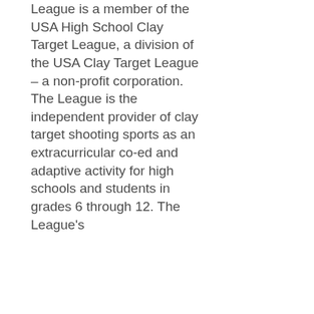League is a member of the USA High School Clay Target League, a division of the USA Clay Target League – a non-profit corporation. The League is the independent provider of clay target shooting sports as an extracurricular co-ed and adaptive activity for high schools and students in grades 6 through 12. The League's